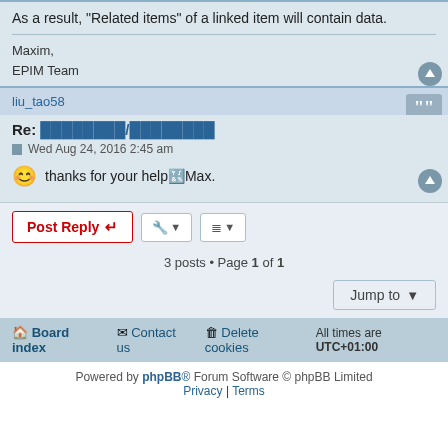As a result, "Related items" of a linked item will contain data.
Maxim,
EPIM Team
liu_tao58
Re: ████████/████████
Wed Aug 24, 2016 2:45 am
😊 thanks for your help🔢Max.
3 posts • Page 1 of 1
Board index   Contact us   Delete cookies   All times are UTC+01:00
Powered by phpBB® Forum Software © phpBB Limited
Privacy | Terms